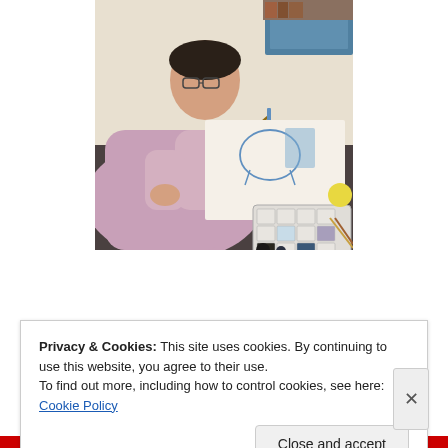[Figure (photo): A person (Sebastian) sitting at a desk painting Greek armor on paper, using a palette with watercolors including Prussian blue and cobalt blue. Art supplies and a computer monitor are visible in the background.]
Sebastian painting Greek armor using Prussian blue and cobalt blue with carbon black pigment he
Privacy & Cookies: This site uses cookies. By continuing to use this website, you agree to their use.
To find out more, including how to control cookies, see here: Cookie Policy